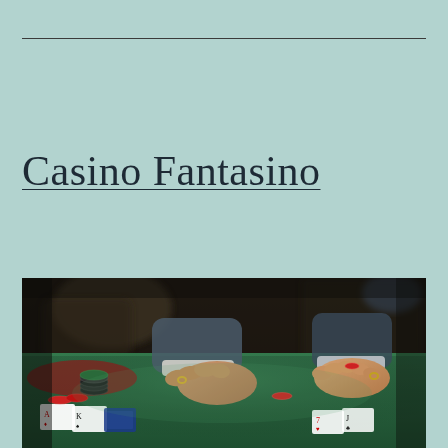Casino Fantasino
[Figure (photo): Casino table scene with players' hands resting on a green felt poker/blackjack table. Poker chips (red and black) and playing cards are visible on the table. Players are wearing suits. The image has a dramatic, moody, dark lighting with shallow depth of field.]